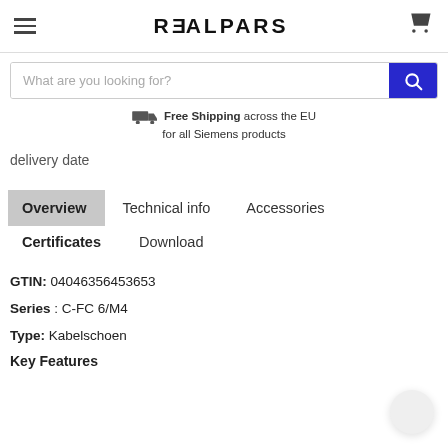REALPARS
What are you looking for?
Free Shipping across the EU for all Siemens products
delivery date
Overview  Technical info  Accessories  Certificates  Download
GTIN: 04046356453653
Series : C-FC 6/M4
Type: Kabelschoen
Key Features